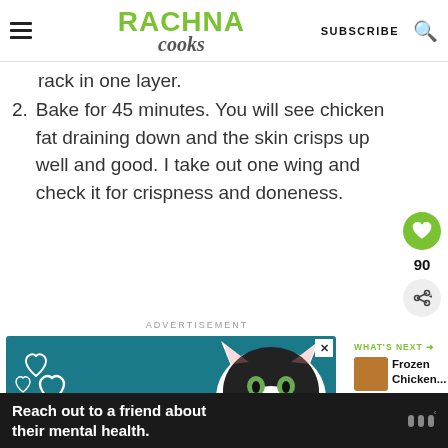RACHNA COOKS — SUBSCRIBE
rack in one layer.
2. Bake for 45 minutes. You will see chicken fat draining down and the skin crisps up well and good. I take out one wing and check it for crispness and doneness.
ADVERTISEMENT
[Figure (photo): Advertisement showing a black and white cat with heart illustrations and the word BEST, on a teal background.]
WHAT'S NEXT → Frozen Chicken...
Reach out to a friend about their mental health.